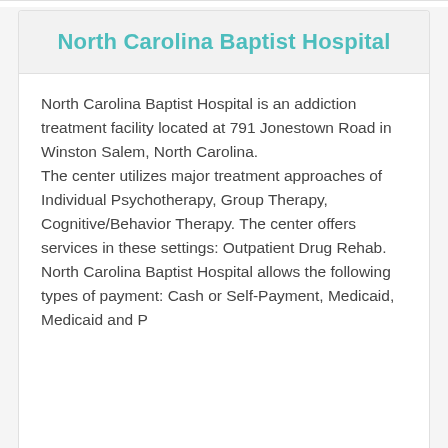North Carolina Baptist Hospital
North Carolina Baptist Hospital is an addiction treatment facility located at 791 Jonestown Road in Winston Salem, North Carolina.
The center utilizes major treatment approaches of Individual Psychotherapy, Group Therapy, Cognitive/Behavior Therapy. The center offers services in these settings: Outpatient Drug Rehab.
North Carolina Baptist Hospital allows the following types of payment: Cash or Self-Payment, Medicaid, Medicaid and Payment...